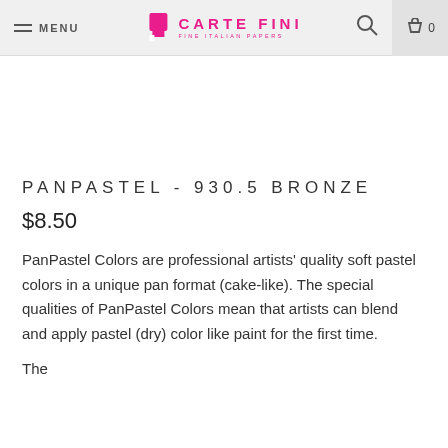MENU | CARTE FINI FINE ITALIAN PAPERS | 0
PANPASTEL - 930.5 BRONZE
$8.50
PanPastel Colors are professional artists’ quality soft pastel colors in a unique pan format (cake-like). The special qualities of PanPastel Colors mean that artists can blend and apply pastel (dry) color like paint for the first time.
The...